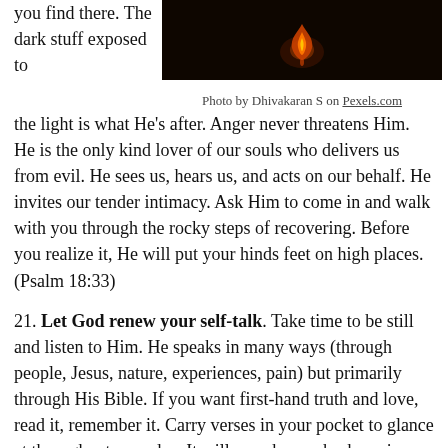you find there. The dark stuff exposed to
[Figure (photo): Dark background photo with a faint glowing flame/light in the center]
Photo by Dhivakaran S on Pexels.com
the light is what He's after. Anger never threatens Him. He is the only kind lover of our souls who delivers us from evil. He sees us, hears us, and acts on our behalf. He invites our tender intimacy. Ask Him to come in and walk with you through the rocky steps of recovering. Before you realize it, He will put your hinds feet on high places. (Psalm 18:33)
21. Let God renew your self-talk. Take time to be still and listen to Him. He speaks in many ways (through people, Jesus, nature, experiences, pain) but primarily through His Bible. If you want first-hand truth and love, read it, remember it. Carry verses in your pocket to glance at throughout your day. It will morph your broken pieces into